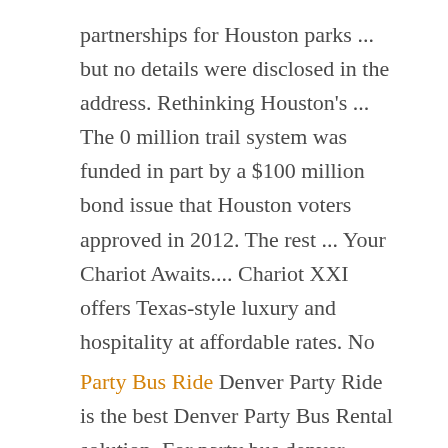partnerships for Houston parks ... but no details were disclosed in the address. Rethinking Houston's ... The 0 million trail system was funded in part by a $100 million bond issue that Houston voters approved in 2012. The rest ... Your Chariot Awaits.... Chariot XXI offers Texas-style luxury and hospitality at affordable rates. No
Party Bus Ride Denver Party Ride is the best Denver Party Bus Rental solution. For party bus denver needs, call (303) 536-7879 today for prices and rates! Party Bus Ride Rentals in Washington DC Metropolitan Area. Welcome to party ride dc, Your Ultimate Source of Fun on The Road We provide one stop solution to all of your
Los Angeles Limo Rates Los Angeles Limo Service. LAX-Orange County Limousine. LAX-Riverside Limousine